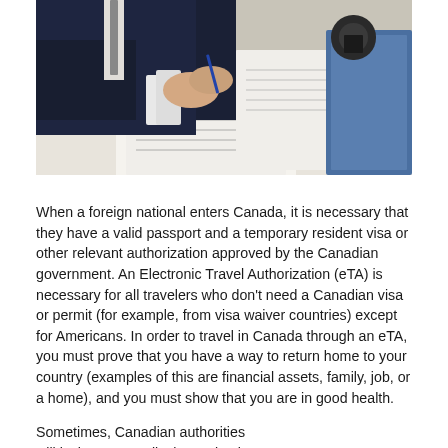[Figure (photo): A person in a suit signing or filling out official documents at a desk, with a rubber stamp and blue folder visible]
When a foreign national enters Canada, it is necessary that they have a valid passport and a temporary resident visa or other relevant authorization approved by the Canadian government. An Electronic Travel Authorization (eTA) is necessary for all travelers who don't need a Canadian visa or permit (for example, from visa waiver countries) except for Americans. In order to travel in Canada through an eTA, you must prove that you have a way to return home to your country (examples of this are financial assets, family, job, or a home), and you must show that you are in good health.
Sometimes, Canadian authorities will insist on a medical examination